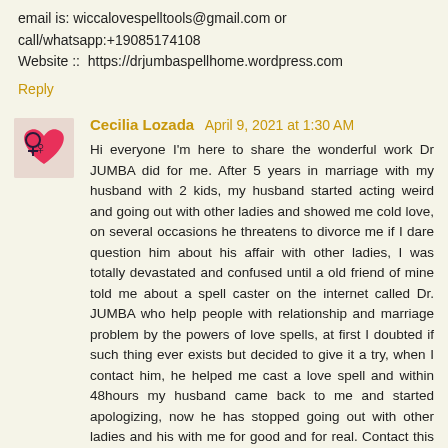email is: wiccalovespelltools@gmail.com or call/whatsapp:+19085174108
Website ::  https://drjumbaspellhome.wordpress.com
Reply
Cecilia Lozada  April 9, 2021 at 1:30 AM
[Figure (photo): Avatar image of Cecilia Lozada showing a heart with decorative design]
Hi everyone I'm here to share the wonderful work Dr JUMBA did for me. After 5 years in marriage with my husband with 2 kids, my husband started acting weird and going out with other ladies and showed me cold love, on several occasions he threatens to divorce me if I dare question him about his affair with other ladies, I was totally devastated and confused until a old friend of mine told me about a spell caster on the internet called Dr. JUMBA who help people with relationship and marriage problem by the powers of love spells, at first I doubted if such thing ever exists but decided to give it a try, when I contact him, he helped me cast a love spell and within 48hours my husband came back to me and started apologizing, now he has stopped going out with other ladies and his with me for good and for real. Contact this great love spell caster for